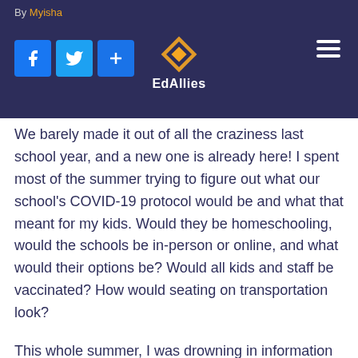By Myisha | EdAllies
We barely made it out of all the craziness last school year, and a new one is already here! I spent most of the summer trying to figure out what our school's COVID-19 protocol would be and what that meant for my kids. Would they be homeschooling, would the schools be in-person or online, and what would their options be? Would all kids and staff be vaccinated? How would seating on transportation look?
This whole summer, I was drowning in information about the virus. If I didn't read or watch it, it was somebody talking about the surging number of cases among children 18